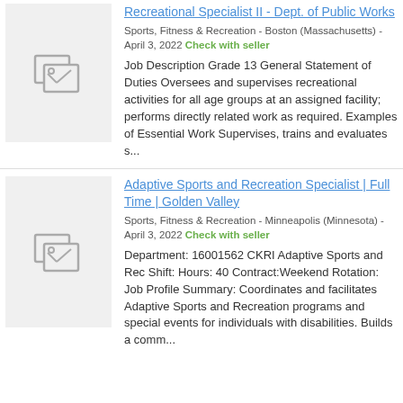[Figure (illustration): Placeholder thumbnail image with image icon]
Recreational Specialist II - Dept. of Public Works
Sports, Fitness & Recreation - Boston (Massachusetts) - April 3, 2022 Check with seller
Job Description Grade 13 General Statement of Duties Oversees and supervises recreational activities for all age groups at an assigned facility; performs directly related work as required. Examples of Essential Work Supervises, trains and evaluates s...
[Figure (illustration): Placeholder thumbnail image with image icon]
Adaptive Sports and Recreation Specialist | Full Time | Golden Valley
Sports, Fitness & Recreation - Minneapolis (Minnesota) - April 3, 2022 Check with seller
Department: 16001562 CKRI Adaptive Sports and Rec Shift: Hours: 40 Contract:Weekend Rotation: Job Profile Summary: Coordinates and facilitates Adaptive Sports and Recreation programs and special events for individuals with disabilities. Builds a comm...